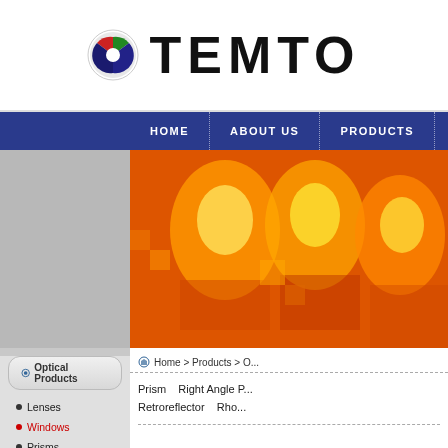[Figure (logo): TEMTO company logo with circular red/green/blue emblem and bold text TEMTO]
HOME   ABOUT US   PRODUCTS
[Figure (photo): Thermal/infrared banner image showing orange-red heat signature of optical components]
Optical Products
Lenses
Windows
Prisms
Filters
Home > Products > O...
Prism   Right Angle P... Retroreflector   Rho...